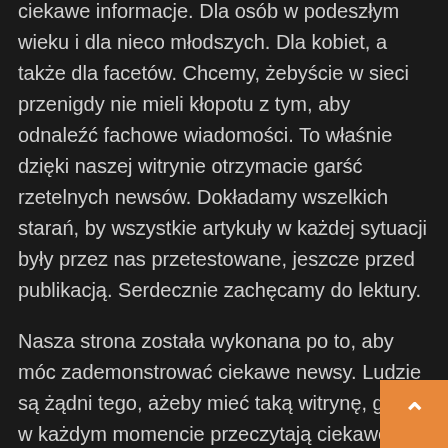ciekawe informacje. Dla osób w podeszłym wieku i dla nieco młodszych. Dla kobiet, a także dla facetów. Chcemy, żebyście w sieci przenigdy nie mieli kłopotu z tym, aby odnaleźć fachowe wiadomości. To właśnie dzięki naszej witrynie otrzymacie garść rzetelnych newsów. Dokładamy wszelkich starań, by wszystkie artykuły w każdej sytuacji były przez nas przetestowane, jeszcze przed publikacją. Serdecznie zachęcamy do lektury.
Nasza strona została wykonana po to, aby móc zademonstrować ciekawe newsy. Ludzie są żądni tego, ażeby mieć taką witrynę, gdzie w każdym momencie przeczytają ciekawe wiadomości. Postanowiliśmy utworzyć taką stronę, abyście mieli gdzie wracać. Zawsze po to, aby przeczytać coś, co spowoduje satysfakcję. Piszemy o wszystkim. Chociaż nie wszystkie tematy s tak mocno przyjemne, jakby się to mogło wydawać. W pewnych sytuacjach jednak i takie tematy powinno się poruszyć, aby wszyscy byli świadomi tego, co dzieje się dookoła. Mamy nadzieję, że nasza strona internetowa przypadnie Wam do gustu i będziecie chcieli